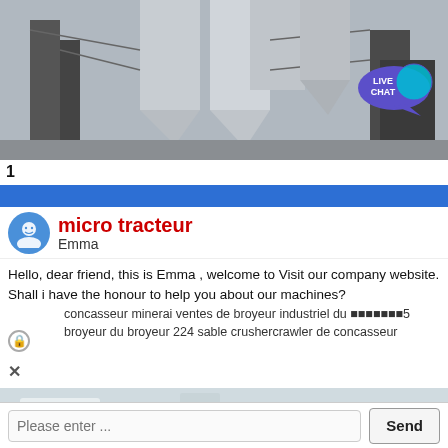[Figure (photo): Industrial machinery photo showing large grey cylindrical/conical silos or hoppers in a factory setting with metal scaffolding. A 'LIVE CHAT' speech bubble icon is visible in the upper right corner.]
1
micro tracteur
Emma
Hello, dear friend, this is Emma , welcome to Visit our company website. Shall i have the honour to help you about our machines?
concasseur minerai ventes de broyeur industriel du ⬛⬛⬛⬛⬛⬛⬛5 broyeur du broyeur 224 sable crushercrawler de concasseur
[Figure (photo): Partial bottom strip photo showing light industrial equipment or machinery, with a red upward arrow overlay in the bottom right.]